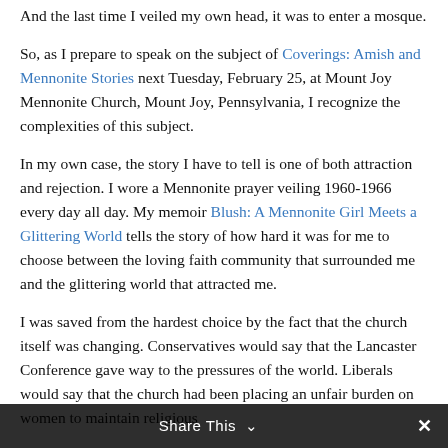And the last time I veiled my own head, it was to enter a mosque.
So, as I prepare to speak on the subject of Coverings: Amish and Mennonite Stories next Tuesday, February 25, at Mount Joy Mennonite Church, Mount Joy, Pennsylvania, I recognize the complexities of this subject.
In my own case, the story I have to tell is one of both attraction and rejection. I wore a Mennonite prayer veiling 1960-1966 every day all day. My memoir Blush: A Mennonite Girl Meets a Glittering World tells the story of how hard it was for me to choose between the loving faith community that surrounded me and the glittering world that attracted me.
I was saved from the hardest choice by the fact that the church itself was changing. Conservatives would say that the Lancaster Conference gave way to the pressures of the world. Liberals would say that the church had been placing an unfair burden on women to maintain religious
Share This